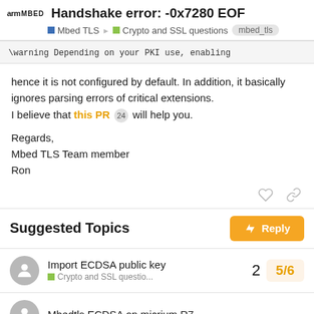Handshake error: -0x7280 EOF
\warning Depending on your PKI use, enabling
hence it is not configured by default. In addition, it basically ignores parsing errors of critical extensions.
I believe that this PR 24 will help you.

Regards,
Mbed TLS Team member
Ron
Suggested Topics
Import ECDSA public key
Crypto and SSL questio... 5/6